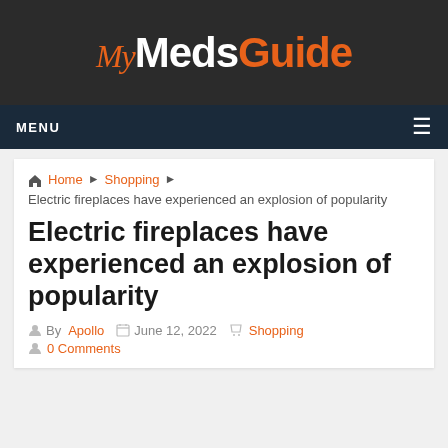My MedsGuide
MENU
Home › Shopping › Electric fireplaces have experienced an explosion of popularity
Electric fireplaces have experienced an explosion of popularity
By Apollo  June 12, 2022  Shopping
0 Comments